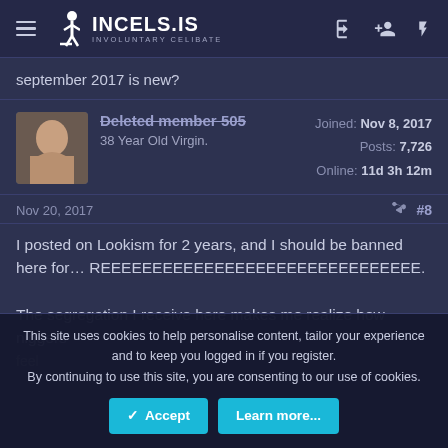INCELS.IS INVOLUNTARY CELIBATE
september 2017 is new?
Deleted member 505
38 Year Old Virgin.
Joined: Nov 8, 2017
Posts: 7,726
Online: 11d 3h 12m
Nov 20, 2017  #8
I posted on Lookism for 2 years, and I should be banned here for… REEEEEEEEEEEEEEEEEEEEEEEEEEEEEEE.

The segregation I receive here makes me realize how niggers feel
This site uses cookies to help personalise content, tailor your experience and to keep you logged in if you register.
By continuing to use this site, you are consenting to our use of cookies.
Accept  Learn more...